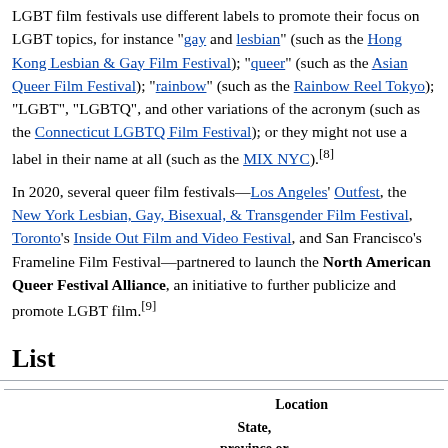LGBT film festivals use different labels to promote their focus on LGBT topics, for instance "gay and lesbian" (such as the Hong Kong Lesbian & Gay Film Festival); "queer" (such as the Asian Queer Film Festival); "rainbow" (such as the Rainbow Reel Tokyo); "LGBT", "LGBTQ", and other variations of the acronym (such as the Connecticut LGBTQ Film Festival); or they might not use a label in their name at all (such as the MIX NYC).[8]
In 2020, several queer film festivals—Los Angeles' Outfest, the New York Lesbian, Gay, Bisexual, & Transgender Film Festival, Toronto's Inside Out Film and Video Festival, and San Francisco's Frameline Film Festival—partnered to launch the North American Queer Festival Alliance, an initiative to further publicize and promote LGBT film.[9]
List
| Name | City or cities | Location
State, province or region | Country | Est |
| --- | --- | --- | --- | --- |
| &PROUD Yangon LGBTIQ Film Festival | Yangon | Yangon Region | Myanmar | 201 |